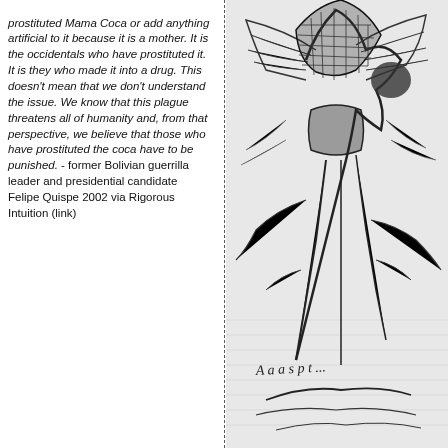prostituted Mama Coca or add anything artificial to it because it is a mother. It is the occidentals who have prostituted it. It is they who made it into a drug. This doesn't mean that we don't understand the issue. We know that this plague threatens all of humanity and, from that perspective, we believe that those who have prostituted the coca have to be punished.  - former Bolivian guerrilla leader and presidential candidate Felipe Quispe 2002 via Rigorous Intuition (link)
[Figure (illustration): Black and white drawing or sketch of what appears to be an insect or plant form with intricate line work and crosshatching, rendered in a dark, expressive style on lined paper. Some handwritten text visible at bottom.]